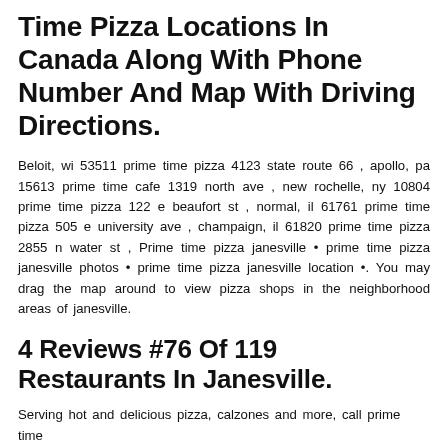Time Pizza Locations In Canada Along With Phone Number And Map With Driving Directions.
Beloit, wi 53511 prime time pizza 4123 state route 66 , apollo, pa 15613 prime time cafe 1319 north ave , new rochelle, ny 10804 prime time pizza 122 e beaufort st , normal, il 61761 prime time pizza 505 e university ave , champaign, il 61820 prime time pizza 2855 n water st , Prime time pizza janesville • prime time pizza janesville photos • prime time pizza janesville location •. You may drag the map around to view pizza shops in the neighborhood areas of janesville.
4 Reviews #76 Of 119 Restaurants In Janesville.
Serving hot and delicious pizza, calzones and more, call prime time